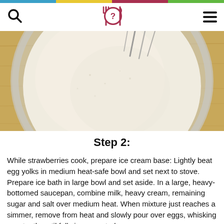[Figure (photo): Top-down view of a glass bowl containing a pale cream/egg mixture being whisked, sitting on a wooden surface. Whisk visible at top of bowl.]
Step 2:
While strawberries cook, prepare ice cream base: Lightly beat egg yolks in medium heat-safe bowl and set next to stove. Prepare ice bath in large bowl and set aside. In a large, heavy-bottomed saucepan, combine milk, heavy cream, remaining sugar and salt over medium heat. When mixture just reaches a simmer, remove from heat and slowly pour over eggs, whisking constantly until fully incorporated.